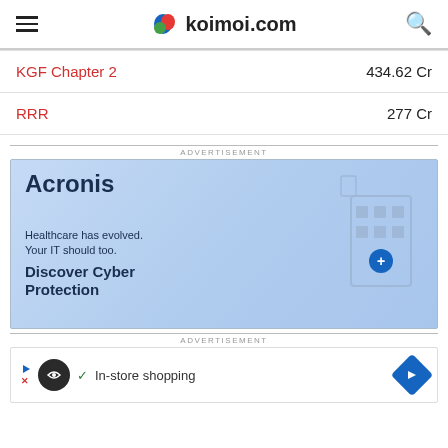koimoi.com
KGF Chapter 2  434.62 Cr
RRR  277 Cr
[Figure (screenshot): Acronis advertisement banner: 'Healthcare has evolved. Your IT should too. Discover Cyber Protection' with blue background and building illustration]
[Figure (screenshot): In-store shopping advertisement with dark circle logo and navigation arrow icon]